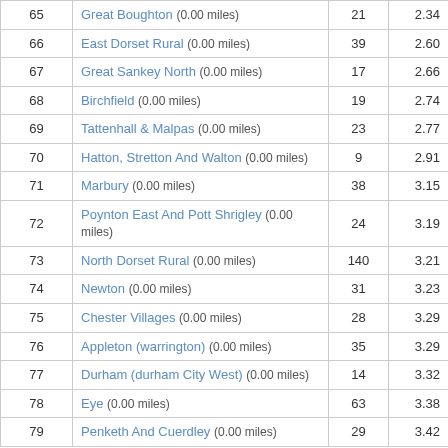| # | Location |  |  |
| --- | --- | --- | --- |
| 65 | Great Boughton (0.00 miles) | 21 | 2.34 |
| 66 | East Dorset Rural (0.00 miles) | 39 | 2.60 |
| 67 | Great Sankey North (0.00 miles) | 17 | 2.66 |
| 68 | Birchfield (0.00 miles) | 19 | 2.74 |
| 69 | Tattenhall & Malpas (0.00 miles) | 23 | 2.77 |
| 70 | Hatton, Stretton And Walton (0.00 miles) | 9 | 2.91 |
| 71 | Marbury (0.00 miles) | 38 | 3.15 |
| 72 | Poynton East And Pott Shrigley (0.00 miles) | 24 | 3.19 |
| 73 | North Dorset Rural (0.00 miles) | 140 | 3.21 |
| 74 | Newton (0.00 miles) | 31 | 3.23 |
| 75 | Chester Villages (0.00 miles) | 28 | 3.29 |
| 76 | Appleton (warrington) (0.00 miles) | 35 | 3.29 |
| 77 | Durham (durham City West) (0.00 miles) | 14 | 3.32 |
| 78 | Eye (0.00 miles) | 63 | 3.38 |
| 79 | Penketh And Cuerdley (0.00 miles) | 29 | 3.42 |